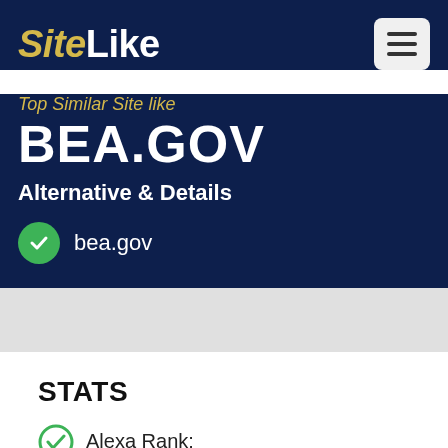SiteLike
Top Similar Site like
BEA.GOV
Alternative & Details
bea.gov
STATS
Alexa Rank: